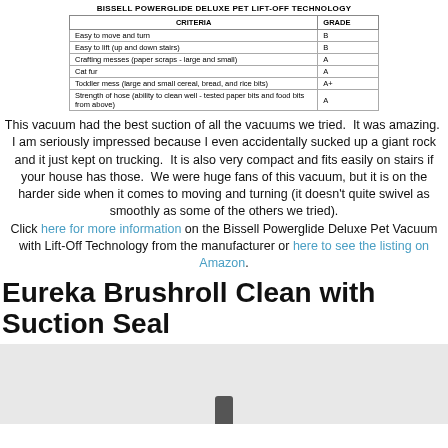| CRITERIA | GRADE |
| --- | --- |
| Easy to move and turn | B |
| Easy to lift (up and down stairs) | B |
| Crafting messes (paper scraps - large and small) | A |
| Cat fur | A |
| Toddler mess (large and small cereal, bread, and rice bits) | A+ |
| Strength of hose (ability to clean well - tested paper bits and food bits from above) | A |
This vacuum had the best suction of all the vacuums we tried.  It was amazing.  I am seriously impressed because I even accidentally sucked up a giant rock and it just kept on trucking.  It is also very compact and fits easily on stairs if your house has those.  We were huge fans of this vacuum, but it is on the harder side when it comes to moving and turning (it doesn't quite swivel as smoothly as some of the others we tried). Click here for more information on the Bissell Powerglide Deluxe Pet Vacuum with Lift-Off Technology from the manufacturer or here to see the listing on Amazon.
Eureka Brushroll Clean with Suction Seal
[Figure (photo): Partial image of a vacuum, showing bottom portion, gray background]